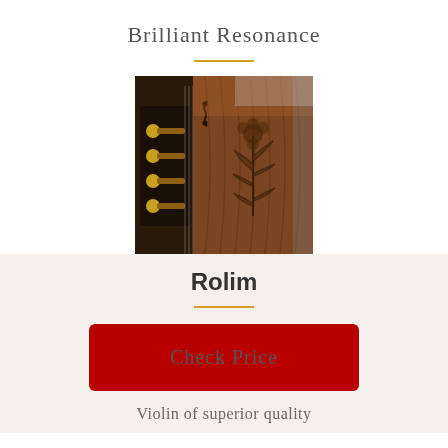Brilliant Resonance
[Figure (photo): Close-up photo of a wooden violin body with floral carving on the back, showing the craftsmanship detail. Tuning pegs visible on the left side.]
Rolim
Check Price
Violin of superior quality